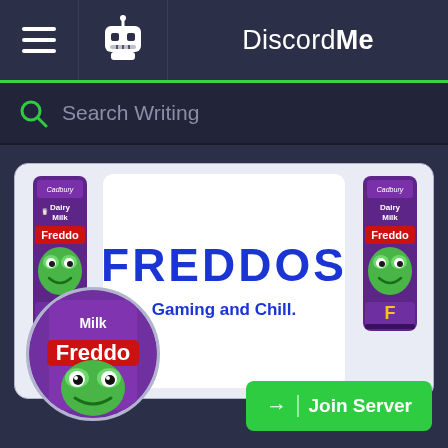DiscordMe
Search Writing
[Figure (screenshot): FREDDOS Discord server card with Cadbury Freddo chocolate bar branding, showing two Freddo bars on left and right, large blue FREDDOS text in center, 'Gaming and Chill.' subtitle, circular avatar with Freddo frog, and a green Join Server button]
FREDDOS
Gaming and Chill.
Join Server